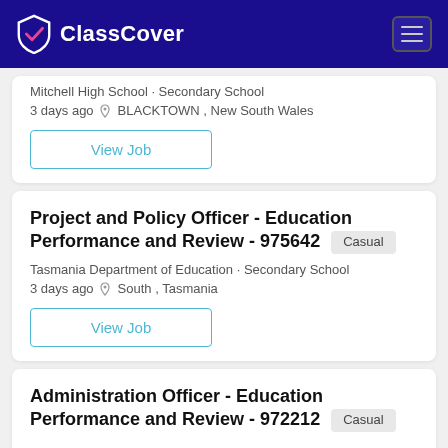[Figure (logo): ClassCover logo with shield checkmark icon on dark navy blue header bar with hamburger menu icon]
Mitchell High School · Secondary School
3 days ago  BLACKTOWN , New South Wales
View Job
Project and Policy Officer - Education Performance and Review - 975642  Casual
Tasmania Department of Education · Secondary School
3 days ago  South , Tasmania
View Job
Administration Officer - Education Performance and Review - 972212  Casual